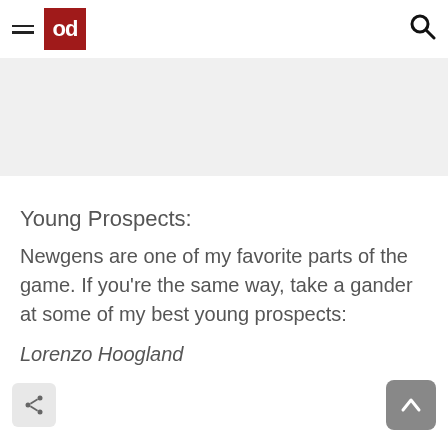od (logo) [hamburger menu] [search icon]
[Figure (other): Gray banner/advertisement placeholder area]
Young Prospects:
Newgens are one of my favorite parts of the game. If you're the same way, take a gander at some of my best young prospects:
Lorenzo Hoogland